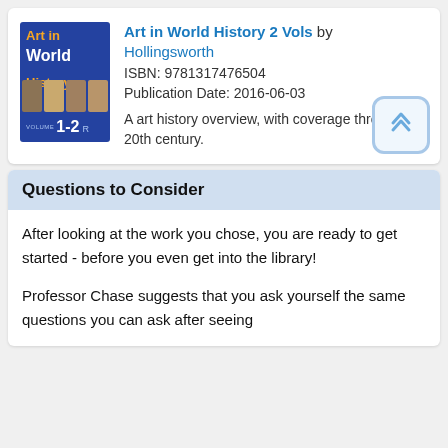[Figure (illustration): Book cover for 'Art in World History 2 Vols' showing blue background with title text in orange and white, small historical images, and volume 1-2 notation]
Art in World History 2 Vols by Hollingsworth
ISBN: 9781317476504
Publication Date: 2016-06-03
A art history overview, with coverage through the 20th century.
Questions to Consider
After looking at the work you chose, you are ready to get started - before you even get into the library!
Professor Chase suggests that you ask yourself the same questions you can ask after seeing